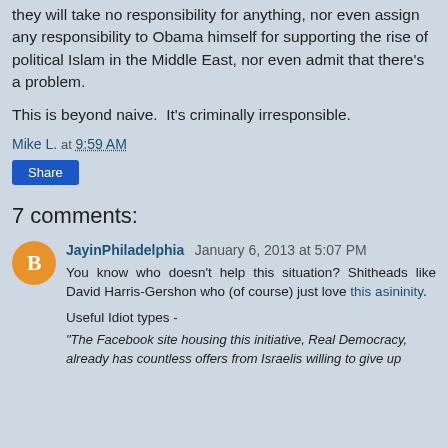they will take no responsibility for anything, nor even assign any responsibility to Obama himself for supporting the rise of political Islam in the Middle East, nor even admit that there's a problem.
This is beyond naive.  It's criminally irresponsible.
Mike L. at 9:59 AM
Share
7 comments:
JayinPhiladelphia  January 6, 2013 at 5:07 PM
You know who doesn't help this situation? Shitheads like David Harris-Gershon who (of course) just love this asininity.
Useful Idiot types -
"The Facebook site housing this initiative, Real Democracy, already has countless offers from Israelis willing to give up